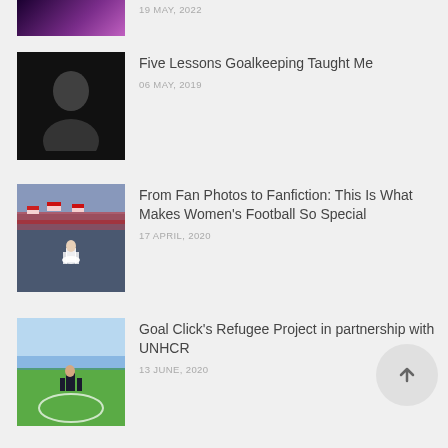[Figure (photo): Purple gradient image (partial, top of page)]
19 MAY, 2022
[Figure (photo): Dark portrait of a woman]
Five Lessons Goalkeeping Taught Me
06 MAY, 2019
[Figure (photo): Crowd of fans with flags, player seen from behind]
From Fan Photos to Fanfiction: This Is What Makes Women's Football So Special
17 APRIL, 2020
[Figure (photo): Soccer field with player, outdoor daylight]
Goal Click's Refugee Project in partnership with UNHCR
13 JUNE, 2020